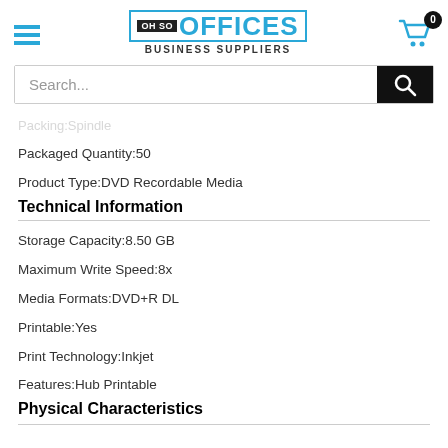OH SO OFFICES BUSINESS SUPPLIERS
Search...
Packing:Spindle
Packaged Quantity:50
Product Type:DVD Recordable Media
Technical Information
Storage Capacity:8.50 GB
Maximum Write Speed:8x
Media Formats:DVD+R DL
Printable:Yes
Print Technology:Inkjet
Features:Hub Printable
Physical Characteristics